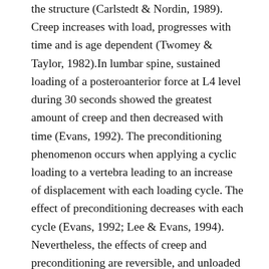the structure (Carlstedt & Nordin, 1989). Creep increases with load, progresses with time and is age dependent (Twomey & Taylor, 1982).In lumbar spine, sustained loading of a posteroanterior force at L4 level during 30 seconds showed the greatest amount of creep and then decreased with time (Evans, 1992). The preconditioning phenomenon occurs when applying a cyclic loading to a vertebra leading to an increase of displacement with each loading cycle. The effect of preconditioning decreases with each cycle (Evans, 1992; Lee & Evans, 1994). Nevertheless, the effects of creep and preconditioning are reversible, and unloaded structures tend to return to their original size (Lee & Evans, 1994). Recovery time has been shown to be longer than creep to occur, but half of the creep effects disappears within two minutes in lumbar spine of young subjects after twenty minutes of seated full flexion. (McGill & Brown, 1992). In study by (Solomonow et al., 2000) after 50 minutes of cyclic